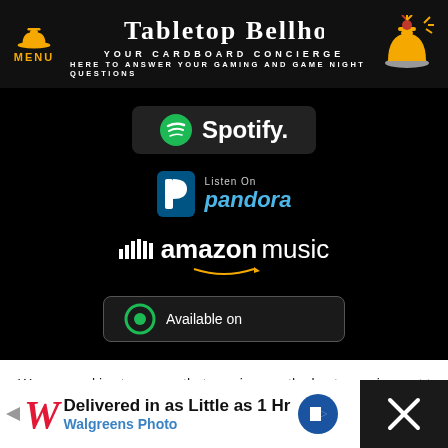MENU | TABLETOP BELLHOP - YOUR CARDBOARD CONCIERGE - HERE TO ANSWER YOUR GAMING AND GAME NIGHT QUESTIONS
[Figure (logo): Spotify logo badge]
[Figure (logo): Pandora Listen On badge]
[Figure (logo): Amazon Music logo]
[Figure (logo): Available on partial badge (bottom cut off)]
We use cookies to ensure that we give you the best experience on Tabletop Bellhop. If you continue to use this site we will assume that you are happy with it.
[Figure (infographic): Walgreens Photo advertisement: Delivered in as Little as 1 Hr]